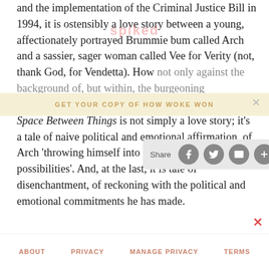and the implementation of the Criminal Justice Bill in 1994, it is ostensibly a love story between a young, affectionately portrayed Brummie bum called Arch and a sassier, sager woman called Vee for Verity (not, thank God, for Vendetta). How[ever, it is set] not only against the background of, but within, the burgeoning rave'n'protest movement of the early 1990s, The Space Between Things is not simply a love story; it's a tale of naive political and emotional affirmation, of Arch 'throwing himself into the world and its possibilities'. And, at the last, it is tale of disenchantment, of reckoning with the political and emotional commitments he has made.
[Figure (screenshot): Spiked watermark overlay text across the article]
[Figure (screenshot): Yellow banner bar with 'GET YOUR COPY OF HOW WOKE WON' text and close button]
[Figure (screenshot): Share bar with Share label and social media icons (Facebook, Twitter, Email, Plus) on grey rounded rectangle background]
ABOUT   PRIVACY   MANAGE PRIVACY   TERMS